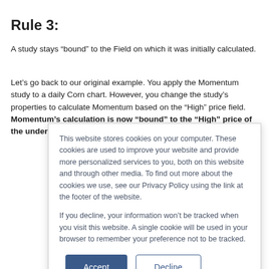Rule 3:
A study stays “bound” to the Field on which it was initially calculated.
Let’s go back to our original example. You apply the Momentum study to a daily Corn chart. However, you change the study’s properties to calculate Momentum based on the “High” price field. Momentum’s calculation is now “bound” to the “High” price of the underlying data.
This website stores cookies on your computer. These cookies are used to improve your website and provide more personalized services to you, both on this website and through other media. To find out more about the cookies we use, see our Privacy Policy using the link at the footer of the website.
If you decline, your information won’t be tracked when you visit this website. A single cookie will be used in your browser to remember your preference not to be tracked.